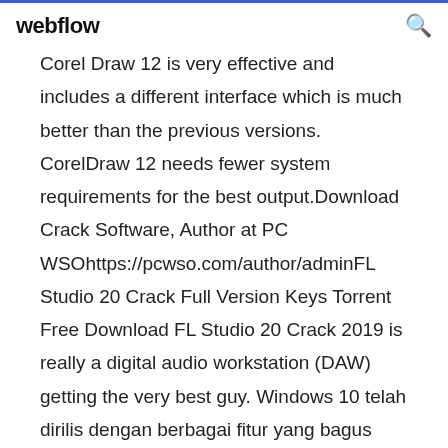webflow
Corel Draw 12 is very effective and includes a different interface which is much better than the previous versions. CorelDraw 12 needs fewer system requirements for the best output.Download Crack Software, Author at PC WSOhttps://pcwso.com/author/adminFL Studio 20 Crack Full Version Keys Torrent Free Download FL Studio 20 Crack 2019 is really a digital audio workstation (DAW) getting the very best guy. Windows 10 telah dirilis dengan berbagai fitur yang bagus serta tampilannya lebih smooth dan menarik. Download windows 10 sekarang juga. Corel Draw x8 Free Download is the Latest Version of Corel Draw Graphic Suite X7 (2017) which is the update version and